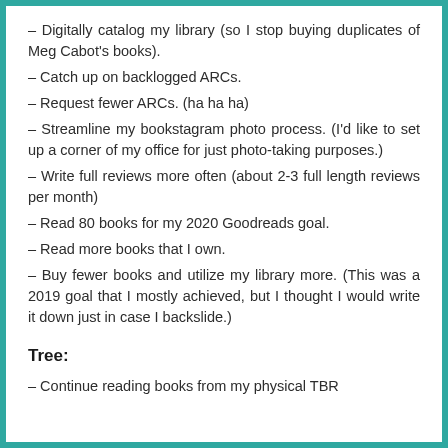– Digitally catalog my library (so I stop buying duplicates of Meg Cabot's books).
– Catch up on backlogged ARCs.
– Request fewer ARCs. (ha ha ha)
– Streamline my bookstagram photo process. (I'd like to set up a corner of my office for just photo-taking purposes.)
– Write full reviews more often (about 2-3 full length reviews per month)
– Read 80 books for my 2020 Goodreads goal.
– Read more books that I own.
– Buy fewer books and utilize my library more. (This was a 2019 goal that I mostly achieved, but I thought I would write it down just in case I backslide.)
Tree:
– Continue reading books from my physical TBR